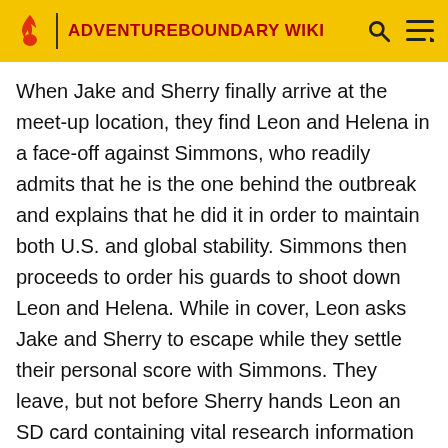ADVENTUREBOUNDARY WIKI
When Jake and Sherry finally arrive at the meet-up location, they find Leon and Helena in a face-off against Simmons, who readily admits that he is the one behind the outbreak and explains that he did it in order to maintain both U.S. and global stability. Simmons then proceeds to order his guards to shoot down Leon and Helena. While in cover, Leon asks Jake and Sherry to escape while they settle their personal score with Simmons. They leave, but not before Sherry hands Leon an SD card containing vital research information regarding Jake's antibodies. Jake and Sherry manage to escape, but are captured once again by Neo Umbrella.
July 1, 2013